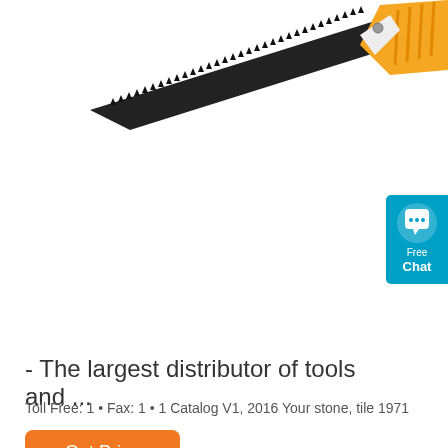[Figure (photo): A hand saw with black serrated blade and orange/yellow handle, shown diagonally at the top of the page.]
[Figure (infographic): Blue chat widget on right edge showing a speech bubble icon with 'Free Chat' text.]
- The largest distributor of tools and ...
Toll Free: 1 • Fax: 1 • 1 Catalog V1, 2016 Your stone, tile 1971
[Figure (other): Orange rounded rectangle button labeled 'Get Price']
[Figure (photo): A tool (appears to be a measuring or cutting device) in yellow retail packaging at the bottom of the page.]